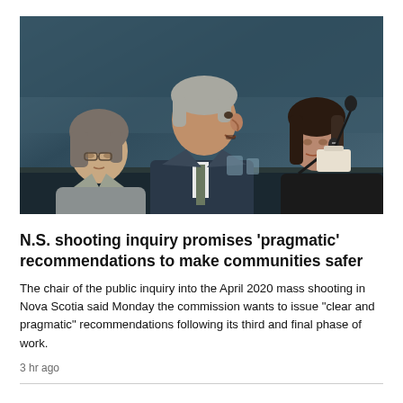[Figure (photo): Three people seated at a panel table — a woman in grey on the left, a man in a suit speaking in the center, and a woman with dark hair on the right with a microphone, against a dark teal background.]
N.S. shooting inquiry promises 'pragmatic' recommendations to make communities safer
The chair of the public inquiry into the April 2020 mass shooting in Nova Scotia said Monday the commission wants to issue "clear and pragmatic" recommendations following its third and final phase of work.
3 hr ago